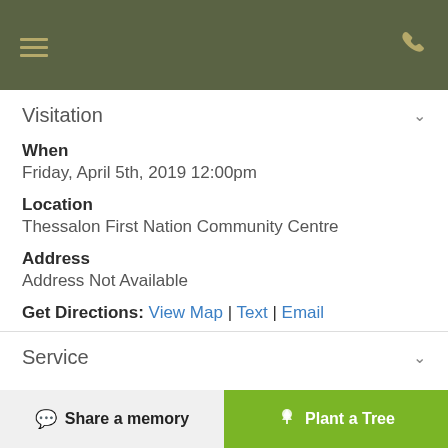Visitation
When
Friday, April 5th, 2019 12:00pm
Location
Thessalon First Nation Community Centre
Address
Address Not Available
Get Directions: View Map | Text | Email
Service
Share a memory  Plant a Tree